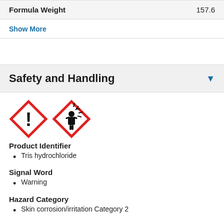| Formula Weight |  |
| --- | --- |
| Formula Weight | 157.6 |
Show More
Safety and Handling
[Figure (illustration): Two GHS hazard pictograms: exclamation mark (irritant) and health hazard (toxic), both in red diamond frames]
Product Identifier
Tris hydrochloride
Signal Word
Warning
Hazard Category
Skin corrosion/irritation Category 2